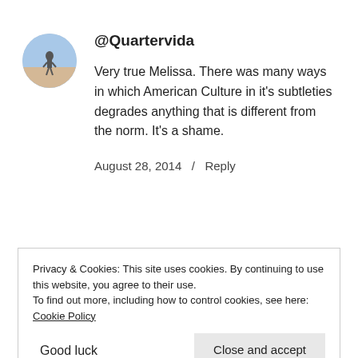@Quartervida
Very true Melissa. There was many ways in which American Culture in it's subtleties degrades anything that is different from the norm. It's a shame.
August 28, 2014  /  Reply
Privacy & Cookies: This site uses cookies. By continuing to use this website, you agree to their use.
To find out more, including how to control cookies, see here: Cookie Policy
Close and accept
Good luck